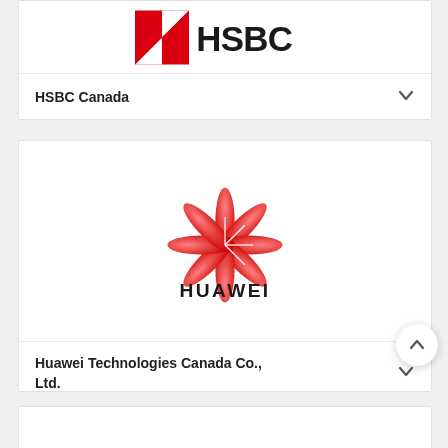[Figure (logo): HSBC logo - red hexagonal icon with white triangles and HSBC text in black]
HSBC Canada
[Figure (logo): Huawei logo - red flower/petal icon above HUAWEI text in black]
Huawei Technologies Canada Co., Ltd.